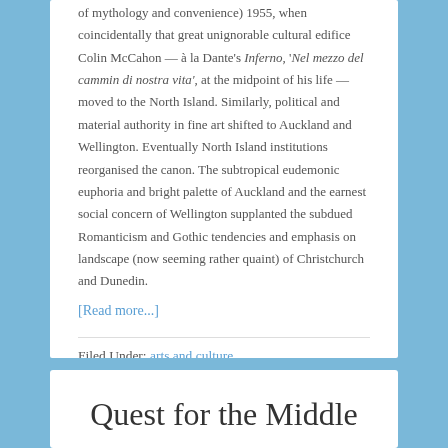of mythology and convenience) 1955, when coincidentally that great unignorable cultural edifice Colin McCahon — à la Dante's Inferno, 'Nel mezzo del cammin di nostra vita', at the midpoint of his life — moved to the North Island. Similarly, political and material authority in fine art shifted to Auckland and Wellington. Eventually North Island institutions reorganised the canon. The subtropical eudemonic euphoria and bright palette of Auckland and the earnest social concern of Wellington supplanted the subdued Romanticism and Gothic tendencies and emphasis on landscape (now seeming rather quaint) of Christchurch and Dunedin.
[Read more...]
Filed Under: arts and culture
Quest for the Middle